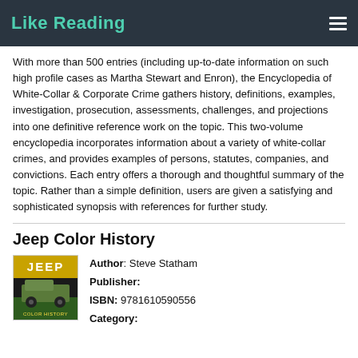Like Reading
With more than 500 entries (including up-to-date information on such high profile cases as Martha Stewart and Enron), the Encyclopedia of White-Collar & Corporate Crime gathers history, definitions, examples, investigation, prosecution, assessments, challenges, and projections into one definitive reference work on the topic. This two-volume encyclopedia incorporates information about a variety of white-collar crimes, and provides examples of persons, statutes, companies, and convictions. Each entry offers a thorough and thoughtful summary of the topic. Rather than a simple definition, users are given a satisfying and sophisticated synopsis with references for further study.
Jeep Color History
[Figure (photo): Book cover of Jeep Color History showing a yellow Jeep vehicle on cover with text JEEP COLOR HISTORY]
Author: Steve Statham
Publisher:
ISBN: 9781610590556
Category: